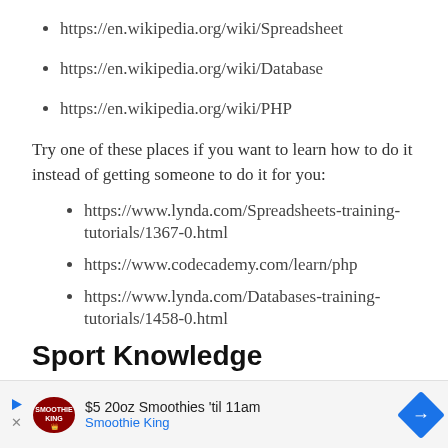https://en.wikipedia.org/wiki/Spreadsheet
https://en.wikipedia.org/wiki/Database
https://en.wikipedia.org/wiki/PHP
Try one of these places if you want to learn how to do it instead of getting someone to do it for you:
https://www.lynda.com/Spreadsheets-training-tutorials/1367-0.html
https://www.codecademy.com/learn/php
https://www.lynda.com/Databases-training-tutorials/1458-0.html
Sport Knowledge
[Figure (other): Advertisement banner: $5 20oz Smoothies 'til 11am — Smoothie King, with play/close icons and directional arrow]